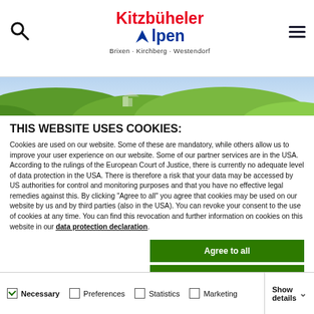Kitzbüheler Alpen — Brixen · Kirchberg · Westendorf
[Figure (photo): Aerial landscape photo of green alpine hills and villages]
THIS WEBSITE USES COOKIES:
Cookies are used on our website. Some of these are mandatory, while others allow us to improve your user experience on our website. Some of our partner services are in the USA. According to the rulings of the European Court of Justice, there is currently no adequate level of data protection in the USA. There is therefore a risk that your data may be accessed by US authorities for control and monitoring purposes and that you have no effective legal remedies against this. By clicking "Agree to all" you agree that cookies may be used on our website by us and by third parties (also in the USA). You can revoke your consent to the use of cookies at any time. You can find this revocation and further information on cookies on this website in our data protection declaration.
Agree to all
Save Selection
Only accept necessary cookies
Necessary  Preferences  Statistics  Marketing  Show details